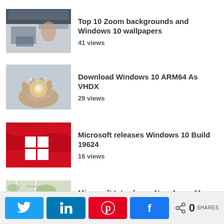Top 10 Zoom backgrounds and Windows 10 wallpapers — 41 views
Download Windows 10 ARM64 As VHDX — 29 views
Microsoft releases Windows 10 Build 19624 — 16 views
Microsoft Introduces New Azure Maps Services — 12 views